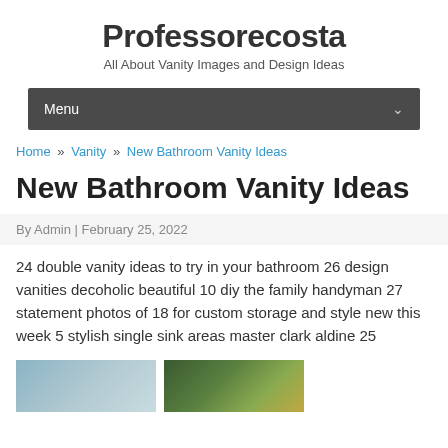Professorecosta
All About Vanity Images and Design Ideas
Menu
Home » Vanity » New Bathroom Vanity Ideas
New Bathroom Vanity Ideas
By Admin | February 25, 2022
24 double vanity ideas to try in your bathroom 26 design vanities decoholic beautiful 10 diy the family handyman 27 statement photos of 18 for custom storage and style new this week 5 stylish single sink areas master clark aldine 25
[Figure (photo): Two thumbnail images at the bottom of the page — left shows a light blue/grey bathroom scene, right shows a green and yellow outdoor/nature scene]